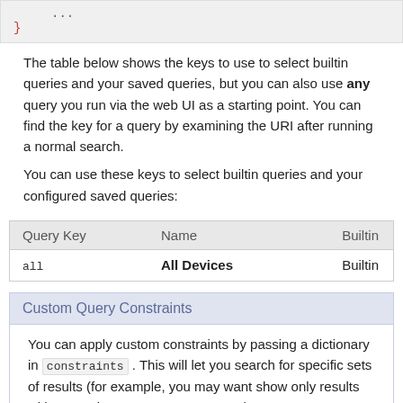...
}
The table below shows the keys to use to select builtin queries and your saved queries, but you can also use any query you run via the web UI as a starting point. You can find the key for a query by examining the URI after running a normal search.
You can use these keys to select builtin queries and your configured saved queries:
| Query Key | Name | Builtin |
| --- | --- | --- |
| all | All Devices | Builtin |
Custom Query Constraints
You can apply custom constraints by passing a dictionary in constraints . This will let you search for specific sets of results (for example, you may want show only results with a certain state, status, or owner).